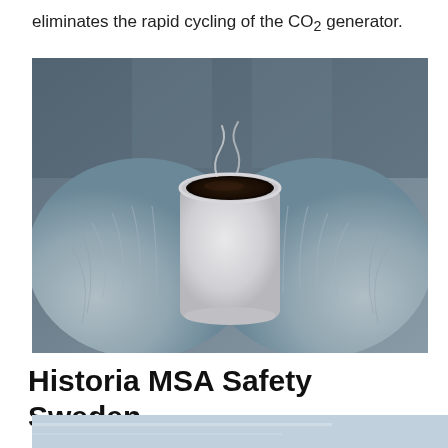eliminates the rapid cycling of the CO2 generator.
[Figure (photo): Black and white close-up photo of two hands wearing knitted woolen mittens/gloves cupping a white mug filled with dark coffee or hot beverage, with visible steam rising from the cup.]
Historia MSA Safety Sweden
[Figure (photo): Partial view of another image at the bottom of the page, appears to be a light blue/grey toned photograph, only top portion visible.]